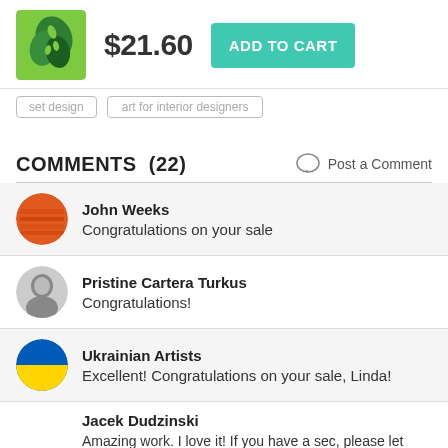$21.60  ADD TO CART
set design   art for interior designers
COMMENTS  (22)
Post a Comment
John Weeks
Congratulations on your sale
Pristine Cartera Turkus
Congratulations!
Ukrainian Artists
Excellent! Congratulations on your sale, Linda!
Jacek Dudzinski
Amazing work. I love it! If you have a sec, please let